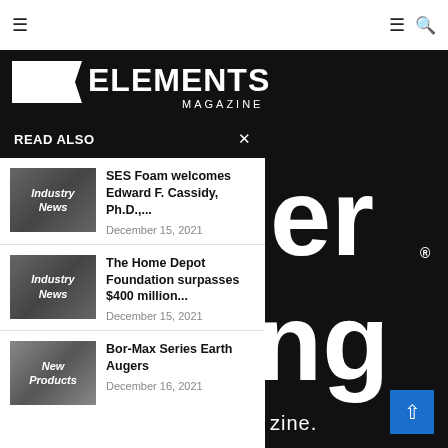Elements Magazine
[Figure (logo): Elements Magazine logo on dark background — large bold text ELEMENTS with MAGAZINE subtitle]
READ ALSO
SES Foam welcomes Edward F. Cassidy, Ph.D.,... — December 15, 2021
The Home Depot Foundation surpasses $400 million... — December 15, 2021
Bor-Max Series Earth Augers — December 16, 2021